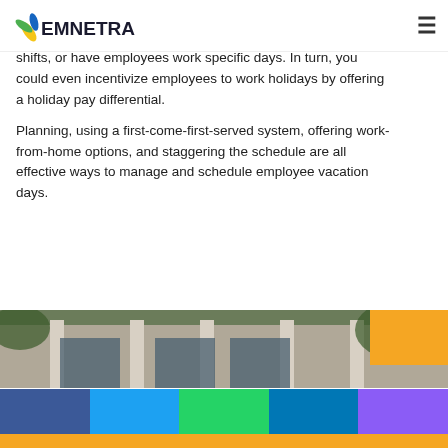EMNETRA (logo/navigation bar)
there's always coverage while accommodating vacations by splitting the workday into morning and afternoon shifts, or have employees work specific days. In turn, you could even incentivize employees to work holidays by offering a holiday pay differential.
Planning, using a first-come-first-served system, offering work-from-home options, and staggering the schedule are all effective ways to manage and schedule employee vacation days.
Taboola Feed
[Figure (photo): Exterior photo of a building with columns and glass doors, with trees in background. An orange rectangle overlay in top right.]
[Figure (infographic): Social sharing bar with five colored buttons: Facebook (blue), Twitter (light blue), WhatsApp (green), LinkedIn (teal/blue), Pinterest (purple).]